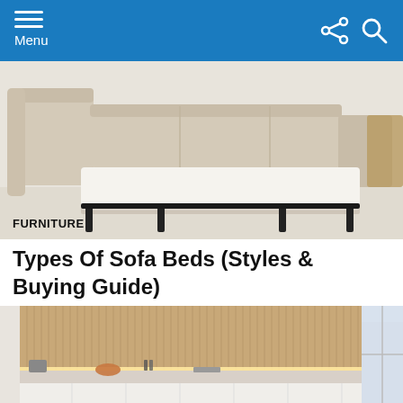Menu
[Figure (photo): A beige/cream sofa bed with the pull-out mattress extended, set against a white background. The metal frame is visible beneath the mattress.]
FURNITURE
Types Of Sofa Beds (Styles & Buying Guide)
[Figure (photo): A modern white kitchen interior with a tall wood-slat accent wall behind the upper cabinets. The lower cabinets are white with under-cabinet lighting illuminating a marble countertop. Decorative items are on the counter. A window is visible on the right side.]